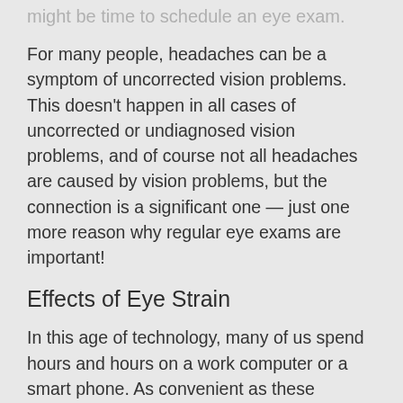might be time to schedule an eye exam.
For many people, headaches can be a symptom of uncorrected vision problems. This doesn't happen in all cases of uncorrected or undiagnosed vision problems, and of course not all headaches are caused by vision problems, but the connection is a significant one — just one more reason why regular eye exams are important!
Effects of Eye Strain
In this age of technology, many of us spend hours and hours on a work computer or a smart phone. As convenient as these devices are, they are also the main culprits behind eye strain, which has symptoms like tired, aching eyes, blurred vision, and even frequent headaches.